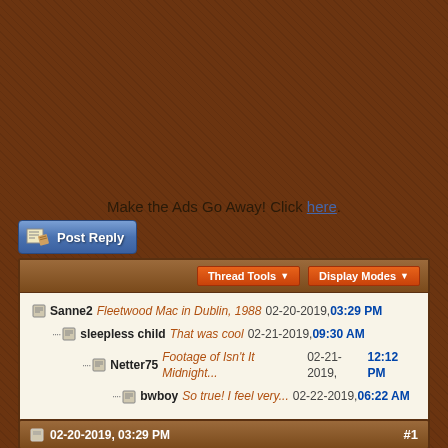Make the Ads Go Away! Click here.
[Figure (screenshot): Post Reply button with pencil/paper icon]
Thread Tools ▼   Display Modes ▼
Sanne2   Fleetwood Mac in Dublin, 1988   02-20-2019, 03:29 PM
sleepless child   That was cool   02-21-2019, 09:30 AM
Netter75   Footage of Isn't It Midnight...   02-21-2019, 12:12 PM
bwboy   So true! I feel very...   02-22-2019, 06:22 AM
02-20-2019, 03:29 PM   #1